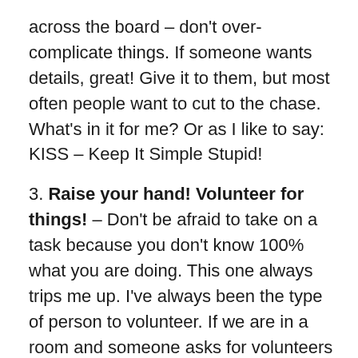across the board – don't over-complicate things. If someone wants details, great! Give it to them, but most often people want to cut to the chase. What's in it for me? Or as I like to say: KISS – Keep It Simple Stupid!
3. Raise your hand! Volunteer for things! – Don't be afraid to take on a task because you don't know 100% what you are doing. This one always trips me up. I've always been the type of person to volunteer. If we are in a room and someone asks for volunteers and no-one raises their hand I usually agree to take things on – this is how I got into PTA in the first place! Their mantra was always 'If not you, then who?'. But we had a running joke at PTA meetings about this: 'Don't have a helium hand' – know when you have to sit on your hand and NOT volunteer. I actually asked Brooks specifically about this tip – how do